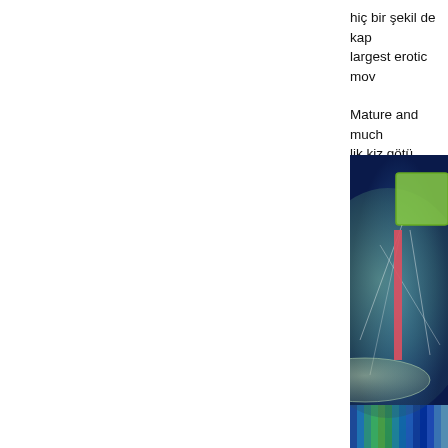hiç bir şekil de kap largest erotic mov
Mature and much lik kiz götü sikmek
[Figure (illustration): Abstract 3D digital illustration with overlapping geometric shapes including a large translucent sphere, a green rectangle, a horizontal ellipse/disc, and vertical colored bars, rendered in blue-green gradient tones against a deep blue background.]